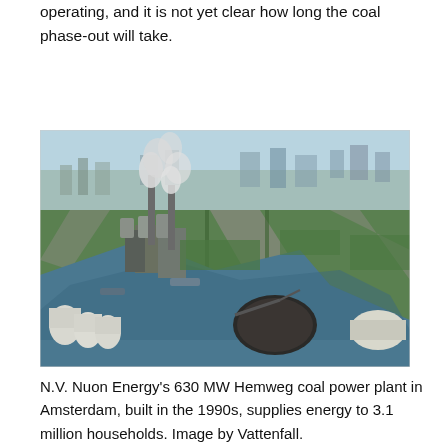operating, and it is not yet clear how long the coal phase-out will take.
[Figure (photo): Aerial photograph of N.V. Nuon Energy's 630 MW Hemweg coal power plant in Amsterdam, showing industrial chimneys with smoke, canals, green fields, and surrounding urban area.]
N.V. Nuon Energy's 630 MW Hemweg coal power plant in Amsterdam, built in the 1990s, supplies energy to 3.1 million households. Image by Vattenfall.